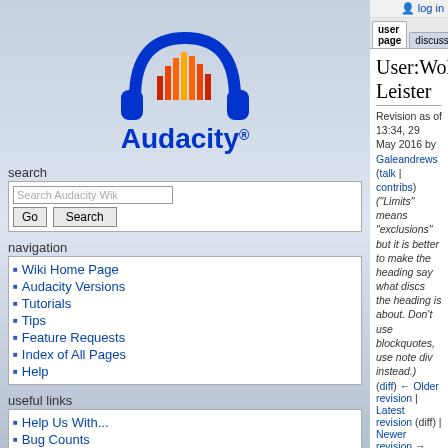[Figure (logo): Audacity logo with blue headphones and orange waveform, with 'Audacity' text in blue below]
search
Search Audacity Wik [Go] [Search]
navigation
Wiki Home Page
Audacity Versions
Tutorials
Tips
Feature Requests
Index of All Pages
Help
useful links
Help Us With...
Bug Counts
user page | discussion | view source | log in
User:Wolfgang Leister
Revision as of 13:34, 29 May 2016 by Galeandrews (talk | contribs) ("Limits" means "exclusions" but it is better to make the heading say what discs the heading is about. Don't use blockquotes, use note div instead.)
(diff) ← Older revision | Latest revision (diff) | Newer revision → (diff)
[Figure (illustration): Orange diamond construction worker warning sign]
This page is a User "Work in Progress"
Please let the claimant work with it at least two weeks after this sticker was put up (or until this sticker has been removed, if earlier).
Suggestions may be made to the claimant by clicking on the page's "discussion"